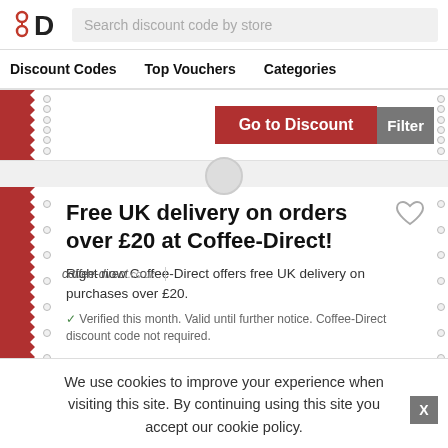Search discount code by store
Discount Codes   Top Vouchers   Categories
Go to Discount   Filter
Free UK delivery on orders over £20 at Coffee-Direct!
Right now Coffee-Direct offers free UK delivery on purchases over £20.
✓ Verified this month. Valid until further notice. Coffee-Direct discount code not required.
We use cookies to improve your experience when visiting this site. By continuing using this site you accept our cookie policy.